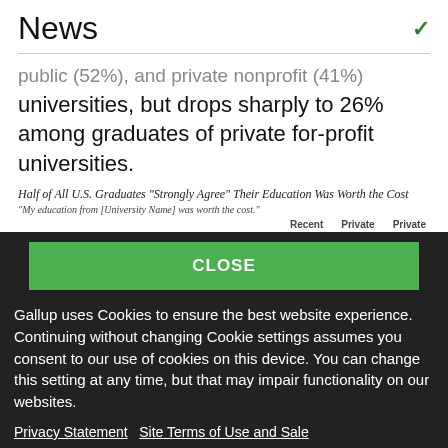News
public (52%), and private nonprofit (41%) universities, but drops sharply to 26% among graduates of private for-profit universities.
Half of All U.S. Graduates "Strongly Agree" Their Education Was Worth the Cost
"My education from [University Name] was worth the cost."
Recent    Private    Private
CLOSE
Gallup uses Cookies to ensure the best website experience. Continuing without changing Cookie settings assumes you consent to our use of cookies on this device. You can change this setting at any time, but that may impair functionality on our websites.
Privacy Statement   Site Terms of Use and Sale
Product Terms of Use   Adjust your cookie settings.